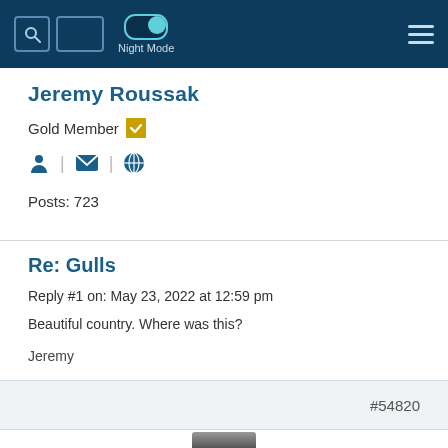Night Mode [navigation bar with search, toggle, hamburger menu]
Jeremy Roussak
Gold Member ✔
Posts: 723
Re: Gulls
Reply #1 on: May 23, 2022 at 12:59 pm
Beautiful country. Where was this?
Jeremy
#54820
[Figure (photo): User avatar photo — partially visible black and white portrait of a person at bottom of page]